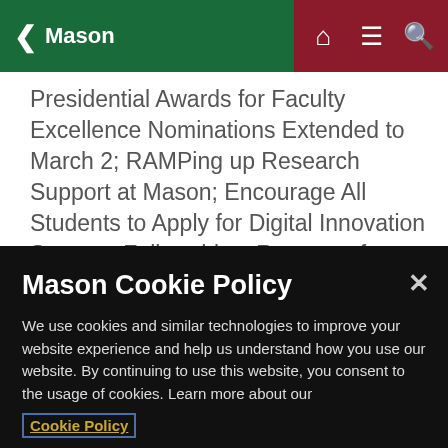Mason
Presidential Awards for Faculty Excellence Nominations Extended to March 2; RAMPing up Research Support at Mason; Encourage All Students to Apply for Digital Innovation Summer Fellowships; Requests for Seed Funding Due; in Late February; Grad Students Proposals for Mason Interdisciplinary Conference Due Feb. 18; Input on Mason Core Enhancement Due Feb. 18;
Mason Cookie Policy
We use cookies and similar technologies to improve your website experience and help us understand how you use our website. By continuing to use this website, you consent to the usage of cookies. Learn more about our
Cookie Policy
Cookie Preferences
Accept Cookies